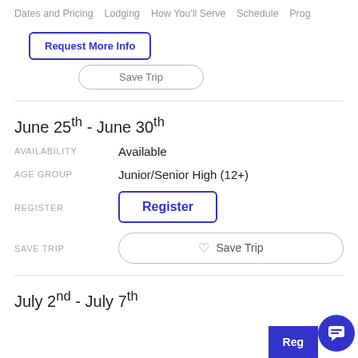Dates and Pricing   Lodging   How You'll Serve   Schedule   Prog
Request More Info
Save Trip (partial button visible)
June 25th - June 30th
AVAILABILITY: Available
AGE GROUP: Junior/Senior High (12+)
REGISTER: Register
SAVE TRIP: Save Trip
July 2nd - July 7th